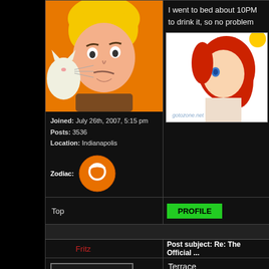[Figure (illustration): Anime-style cartoon avatar: male character with blonde hair and cat, orange background]
Joined: July 26th, 2007, 5:15 pm
Posts: 3536
Location: Indianapolis
[Figure (illustration): Orange circle with Taurus zodiac symbol]
Top
PROFILE
Fritz
Post subject: Re: The Official ...
OFFLINE
Administrator
[Figure (illustration): Orange avatar image bottom crop]
Terrace
No avatar
Profile
[Figure (illustration): Anime girl with red hair on white background, gotozone.net watermark]